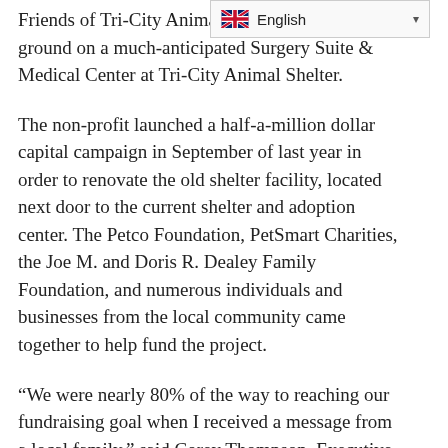Friends of Tri-City Animal Shelter, breaking ground on a much-anticipated Surgery Suite & Medical Center at Tri-City Animal Shelter.
The non-profit launched a half-a-million dollar capital campaign in September of last year in order to renovate the old shelter facility, located next door to the current shelter and adoption center. The Petco Foundation, PetSmart Charities, the Joe M. and Doris R. Dealey Family Foundation, and numerous individuals and businesses from the local community came together to help fund the project.
“We were nearly 80% of the way to reaching our fundraising goal when I received a message from a local family,” said Corey Thompson, Executive Director of the Friends. “I updated them on the status of the campaign, and they expressed their commitment to helping us save more lives at the animal shelter.” They completed the additional...